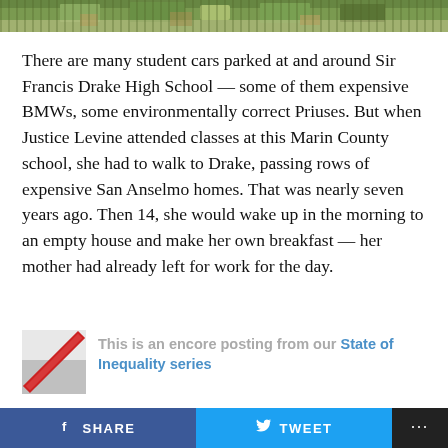[Figure (photo): Aerial or street-level photo banner of Sir Francis Drake High School area, showing trees, rooftops, and street.]
There are many student cars parked at and around Sir Francis Drake High School — some of them expensive BMWs, some environmentally correct Priuses. But when Justice Levine attended classes at this Marin County school, she had to walk to Drake, passing rows of expensive San Anselmo homes. That was nearly seven years ago. Then 14, she would wake up in the morning to an empty house and make her own breakfast — her mother had already left for work for the day.
[Figure (logo): Small icon/logo for the encore posting notice — gray and red diagonal graphic.]
This is an encore posting from our State of Inequality series
SHARE   TWEET   ...